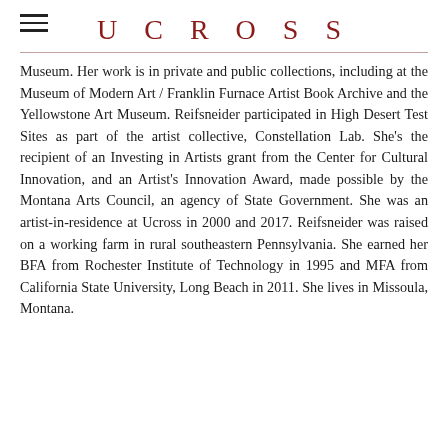UCROSS
Museum. Her work is in private and public collections, including at the Museum of Modern Art / Franklin Furnace Artist Book Archive and the Yellowstone Art Museum. Reifsneider participated in High Desert Test Sites as part of the artist collective, Constellation Lab. She's the recipient of an Investing in Artists grant from the Center for Cultural Innovation, and an Artist's Innovation Award, made possible by the Montana Arts Council, an agency of State Government. She was an artist-in-residence at Ucross in 2000 and 2017. Reifsneider was raised on a working farm in rural southeastern Pennsylvania. She earned her BFA from Rochester Institute of Technology in 1995 and MFA from California State University, Long Beach in 2011. She lives in Missoula, Montana.